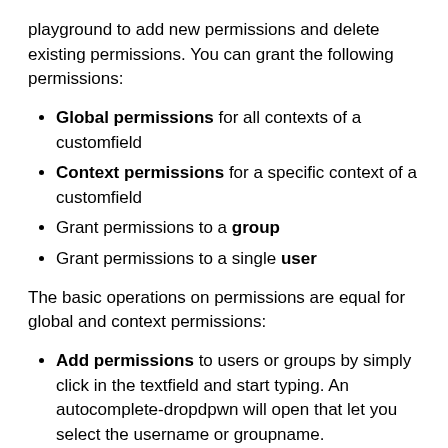playground to add new permissions and delete existing permissions. You can grant the following permissions:
Global permissions for all contexts of a customfield
Context permissions for a specific context of a customfield
Grant permissions to a group
Grant permissions to a single user
The basic operations on permissions are equal for global and context permissions:
Add permissions to users or groups by simply click in the textfield and start typing. An autocomplete-dropdpwn will open that let you select the username or groupname.